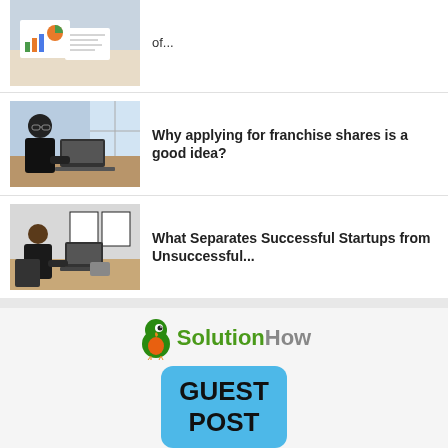[Figure (photo): Charts and documents on a desk (top-left thumbnail, partially visible)]
of...
[Figure (photo): Man in black suit working on laptop at a desk near large windows]
Why applying for franchise shares is a good idea?
[Figure (photo): Man in dark clothing working at a desk with two framed pictures on wall behind]
What Separates Successful Startups from Unsuccessful...
[Figure (logo): SolutionHow logo with green parrot mascot and GUEST POST speech bubble graphic]